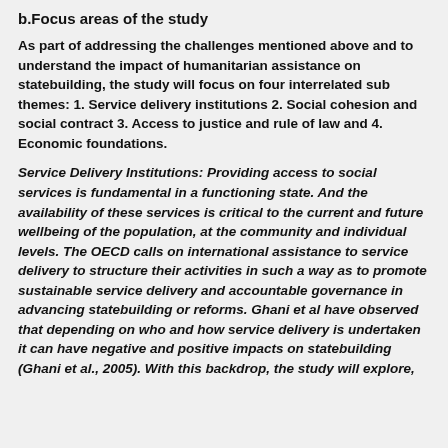b.Focus areas of the study
As part of addressing the challenges mentioned above and to understand the impact of humanitarian assistance on statebuilding, the study will focus on four interrelated sub themes: 1. Service delivery institutions 2. Social cohesion and social contract 3. Access to justice and rule of law and 4. Economic foundations.
Service Delivery Institutions: Providing access to social services is fundamental in a functioning state. And the availability of these services is critical to the current and future wellbeing of the population, at the community and individual levels. The OECD calls on international assistance to service delivery to structure their activities in such a way as to promote sustainable service delivery and accountable governance in advancing statebuilding or reforms. Ghani et al have observed that depending on who and how service delivery is undertaken it can have negative and positive impacts on statebuilding (Ghani et al., 2005). With this backdrop, the study will explore,